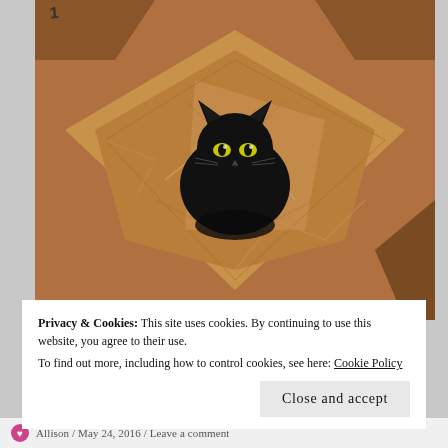[Figure (photo): A black cat sitting inside a cardboard box lined with crumpled brown kraft paper, looking up at the camera with bright yellow-green eyes.]
Privacy & Cookies: This site uses cookies. By continuing to use this website, you agree to their use.
To find out more, including how to control cookies, see here: Cookie Policy
Close and accept
Allison / May 24, 2016 / Leave a comment